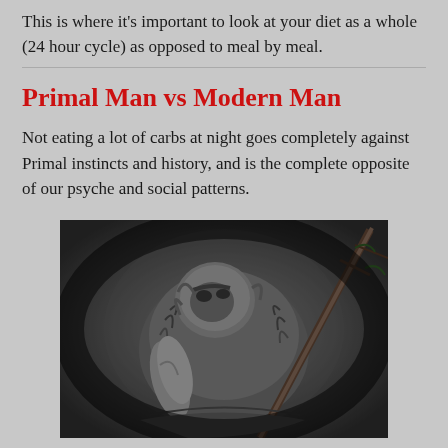This is where it's important to look at your diet as a whole (24 hour cycle) as opposed to meal by meal.
Primal Man vs Modern Man
Not eating a lot of carbs at night goes completely against Primal instincts and history, and is the complete opposite of our psyche and social patterns.
[Figure (photo): Black and white digital illustration of a muscular primal/prehistoric man hunched over, wearing animal fur, carrying a large stick or spear with branches, depicted in a dark dramatic fantasy art style.]